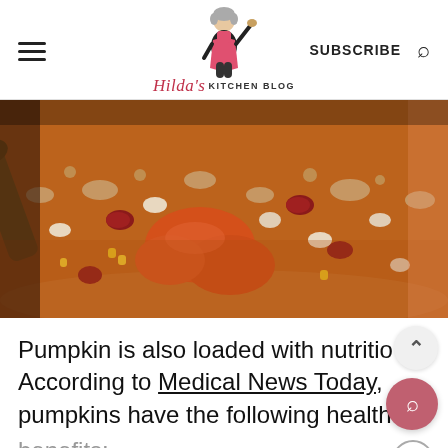Hilda's Kitchen Blog | SUBSCRIBE
[Figure (photo): Close-up overhead photo of a pot of pumpkin chili with kidney beans, white beans, ground meat, pumpkin chunks, and broth, with a wooden spoon stirring]
Pumpkin is also loaded with nutritio According to Medical News Today, pumpkins have the following health benefits: